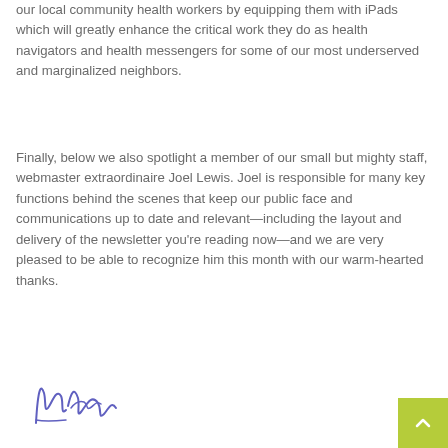our local community health workers by equipping them with iPads which will greatly enhance the critical work they do as health navigators and health messengers for some of our most underserved and marginalized neighbors.
Finally, below we also spotlight a member of our small but mighty staff, webmaster extraordinaire Joel Lewis. Joel is responsible for many key functions behind the scenes that keep our public face and communications up to date and relevant—including the layout and delivery of the newsletter you're reading now—and we are very pleased to be able to recognize him this month with our warm-hearted thanks.
[Figure (illustration): A handwritten cursive signature in blue/purple ink, appearing to start with 'K. R.' or similar initials]